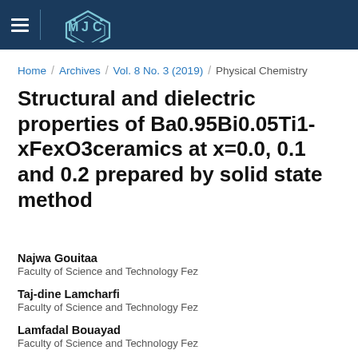MJC — Moroccan Journal of Chemistry
Home / Archives / Vol. 8 No. 3 (2019) / Physical Chemistry
Structural and dielectric properties of Ba0.95Bi0.05Ti1-xFexO3ceramics at x=0.0, 0.1 and 0.2 prepared by solid state method
Najwa Gouitaa
Faculty of Science and Technology Fez
Taj-dine Lamcharfi
Faculty of Science and Technology Fez
Lamfadal Bouayad
Faculty of Science and Technology Fez